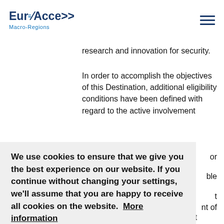EuroAccess Macro-Regions
research and innovation for security.
In order to accomplish the objectives of this Destination, additional eligibility conditions have been defined with regard to the active involvement or
We use cookies to ensure that we give you the best experience on our website. If you continue without changing your settings, we'll assume that you are happy to receive all cookies on the website.  More information
Agree
ble
t
nt of
EU civil security capabilities built